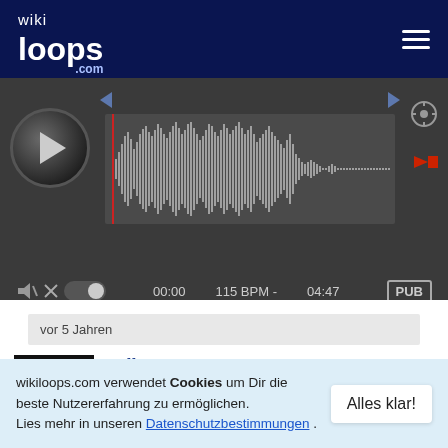[Figure (screenshot): wikiloops.com navigation bar with logo and hamburger menu]
[Figure (screenshot): Audio player with play button, waveform display, 115 BPM, time 00:00 to 04:47, gear icon, flag, mute toggle, PUB badge]
vor 5 Jahren
Haffast
BIAS???!!! I've been wanting to hear
wikiloops.com verwendet Cookies um Dir die beste Nutzererfahrung zu ermöglichen. Lies mehr in unseren Datenschutzbestimmungen .
Alles klar!